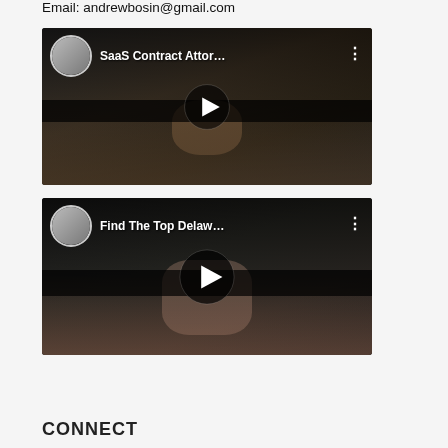Email: andrewbosin@gmail.com
[Figure (screenshot): YouTube video thumbnail showing 'SaaS Contract Attor...' with a person's face partially obscured by a shadow band, play button in center, and a channel avatar in the top-left corner]
[Figure (screenshot): YouTube video thumbnail showing 'Find The Top Delaw...' with a person's face partially obscured by a shadow band, play button in center, and a channel avatar in the top-left corner]
CONNECT